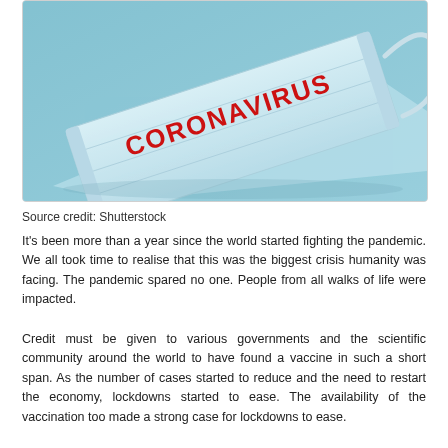[Figure (photo): A light blue disposable face mask lying on a blue background with the word CORONAVIRUS printed in bold red letters across the front of the mask.]
Source credit: Shutterstock
It's been more than a year since the world started fighting the pandemic. We all took time to realise that this was the biggest crisis humanity was facing. The pandemic spared no one. People from all walks of life were impacted.
Credit must be given to various governments and the scientific community around the world to have found a vaccine in such a short span. As the number of cases started to reduce and the need to restart the economy, lockdowns started to ease. The availability of the vaccination too made a strong case for lockdowns to ease.